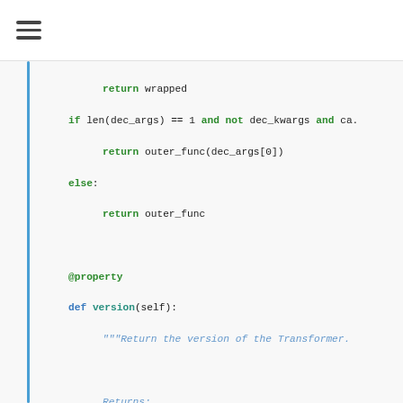≡
Code block showing Python source: return wrapped, if len(dec_args) == 1 and not dec_kwargs and ca., return outer_func(dec_args[0]), else:, return outer_func, @property, def version(self):, docstring Return the version of the Transformer., Returns:, :obj:`str`: The version string., return self.api_client.get_st_info()['version'], [docs] @_dump_st_log_on_error, def add_pipeline(self, *pipelines):, docstring Add one or more pipelines to the Transformer, Args:, *pipelines: One or more instances of :py:cl., for pipeline in set(pipelines):, # Only do the REST call to add the pipeline, if self.api_client:, logger.info('Importing pipeline %s...', response = self.api_client.import_pipe